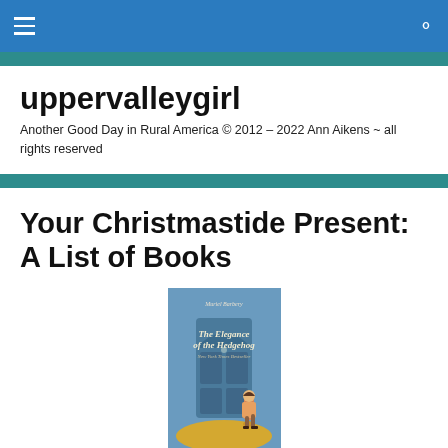uppervalleygirl navigation bar
uppervalleygirl
Another Good Day in Rural America © 2012 – 2022 Ann Aikens ~ all rights reserved
Your Christmastide Present: A List of Books
[Figure (photo): Book cover of 'The Elegance of the Hedgehog' by Muriel Barbery, showing a girl walking past a large blue door, with a New York Times Bestseller label]